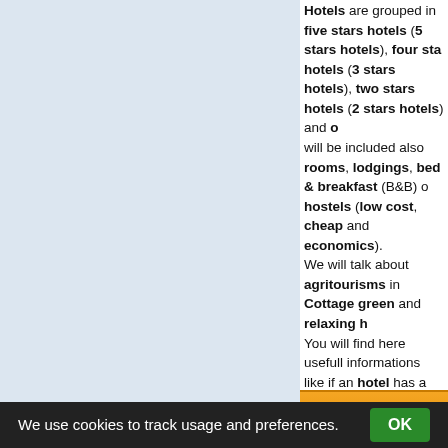Hotels are grouped in five stars hotels (5 stars hotels), four stars hotels (3 stars hotels), two stars hotels (2 stars hotels) and other hotels. Will be included also rooms, lodgings, bed & breakfast (B&B) of hostels (low cost, cheap and economics). We will talk about agritourisms in Cottage green and relaxing h... You will find here usefull informations like if an hotel has a swimm... allows your animals (like cats and dogs), if it has a convention r... Other features found may be a telephone, an alarm clock, a TV, a... and drink may be supplied by a mini-bar (which often includes a s... drinks, and tea and coffee making facilities (cups, spoons, an elec... coffee, tea bags, sugar, and creamer or milk). You'll discover all H... (united states) or full board Hotels. You can chose your breakfast and dinner are taken care of throug... For Cottage green we will list not only hotels, but also a lot of oth... and breakfast, Apartment hotels, Hotel chains, Resorts, Hosto... A Bed and Breakfast (often referred to as a B&B) is a type of boa... large single family residence. Prices for half board are dependent on booking date, please ask... You can stay at hotels for two days and just one night, making the... the magic of your holydays in united states.
We use cookies to track usage and preferences.